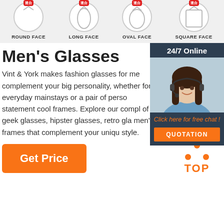[Figure (infographic): Four face shape icons (circle outlines with red badges) labeled ROUND FACE, LONG FACE, OVAL FACE, SQUARE FACE on a light grey bar]
Men's Glasses
Vint & York makes fashion glasses for me complement your big personality, whether for everyday mainstays or a pair of perso statement cool frames. Explore our compl of geek glasses, hipster glasses, retro gla men's frames that complement your uniqu style.
[Figure (photo): 24/7 Online chat widget with a customer service woman wearing a headset, orange QUOTATION button, dark navy background]
[Figure (other): Orange Get Price button]
[Figure (logo): Orange TOP logo with triangular dots above the word TOP]